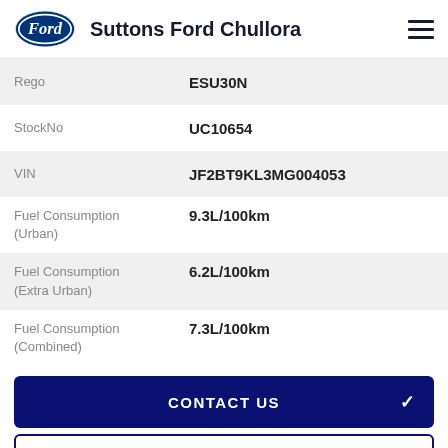Suttons Ford Chullora
| Field | Value |
| --- | --- |
| Rego | ESU30N |
| StockNo | UC10654 |
| VIN | JF2BT9KL3MG004053 |
| Fuel Consumption (Urban) | 9.3L/100km |
| Fuel Consumption (Extra Urban) | 6.2L/100km |
| Fuel Consumption (Combined) | 7.3L/100km |
CONTACT US
FINANCE THIS VEHICLE